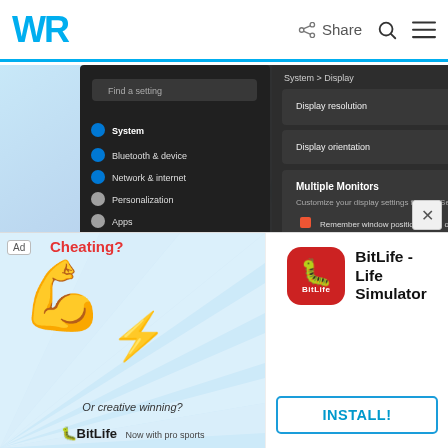WR | Share
[Figure (screenshot): Windows 11 Settings app showing System > Display panel with Multiple Displays section expanded, showing options for taskbar behavior on multiple monitors]
How to Show the Taskbar Clock on all Monitors in Windows 11
by Alexandru Poloboc
How To
[Figure (infographic): Advertisement for BitLife - Life Simulator app with 'Cheating?' and 'Or creative winning?' text, showing flexing arm emoji and BitLife logo. INSTALL! button shown.]